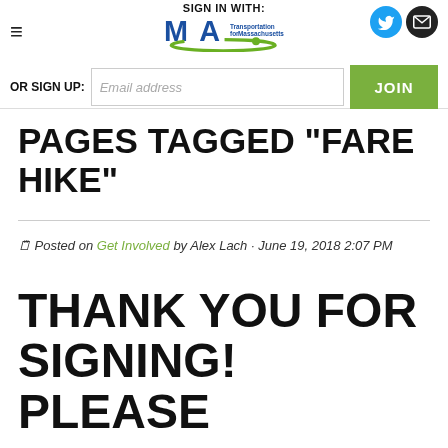SIGN IN WITH: | Transportation for Massachusetts | OR SIGN UP: Email address | JOIN
PAGES TAGGED "FARE HIKE"
📋 Posted on Get Involved by Alex Lach · June 19, 2018 2:07 PM
THANK YOU FOR SIGNING! PLEASE